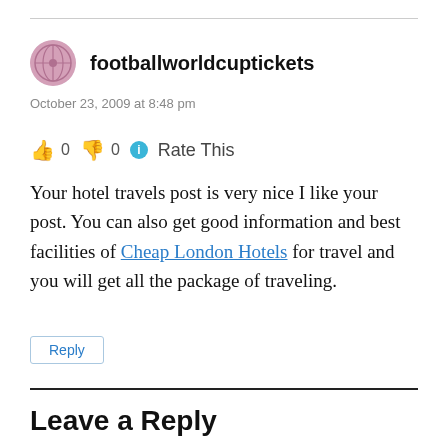footballworldcuptickets
October 23, 2009 at 8:48 pm
👍 0 👎 0 ℹ Rate This
Your hotel travels post is very nice I like your post. You can also get good information and best facilities of Cheap London Hotels for travel and you will get all the package of traveling.
Reply
Leave a Reply